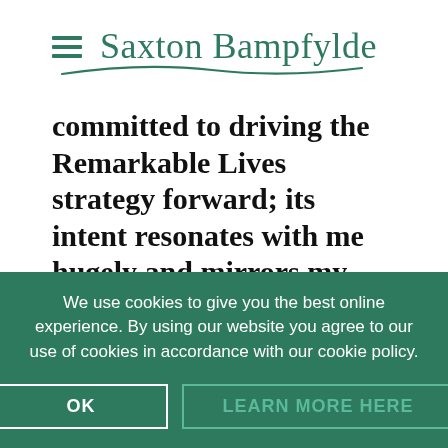[Figure (logo): Saxton Bampfylde logo with hamburger menu icon and decorative underline]
committed to driving the Remarkable Lives strategy forward; its intent resonates with me hugely and mirrors my own beliefs about what sort of
We use cookies to give you the best online experience. By using our website you agree to our use of cookies in accordance with our cookie policy.
OK
LEARN MORE HERE